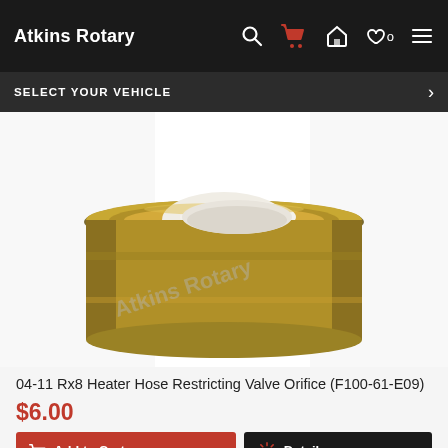Atkins Rotary
SELECT YOUR VEHICLE
[Figure (photo): Close-up photo of a brass heater hose restricting valve orifice (cylindrical brass fitting) with 'Atkins Rotary' watermark overlaid.]
04-11 Rx8 Heater Hose Restricting Valve Orifice (F100-61-E09)
$6.00
Add to Cart
Details